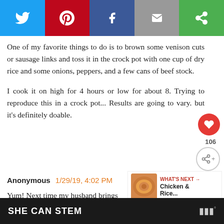[Figure (other): Social sharing bar with Twitter (blue), Pinterest (red), Facebook (dark blue), Email (gray), and Copy/Share (green) buttons]
One of my favorite things to do is to brown some venison cuts or sausage links and toss it in the crock pot with one cup of dry rice and some onions, peppers, and a few cans of beef stock.
I cook it on high for 4 hours or low for about 8. Trying to reproduce this in a crock pot... Results are going to vary. but it's definitely doable.
Anonymous  1/29/19, 4:02 PM
[Figure (other): What's Next widget showing a food image thumbnail with label 'WHAT'S NEXT' and title 'Chicken & Rice...']
Yum! Next time my husband brings